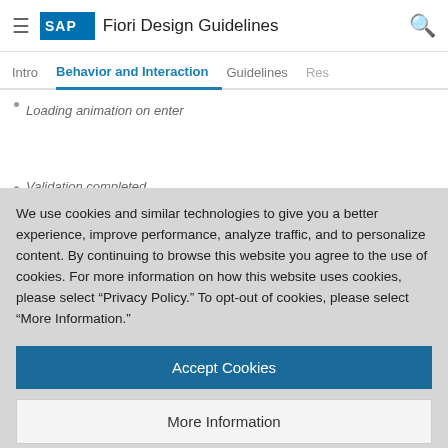SAP Fiori Design Guidelines
Behavior and Interaction
Loading animation on enter
Validation completed
We use cookies and similar technologies to give you a better experience, improve performance, analyze traffic, and to personalize content. By continuing to browse this website you agree to the use of cookies. For more information on how this website uses cookies, please select “Privacy Policy.” To opt-out of cookies, please select “More Information.”
Accept Cookies
More Information
Privacy Policy | Powered by: TrustArc